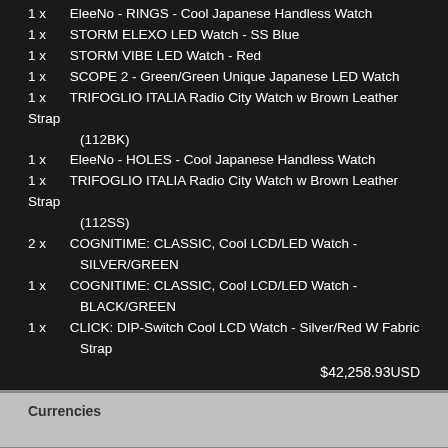1 x   EleeNo - RINGS - Cool Japanese Handless Watch
1 x   STORM ELEXO LED Watch - SS Blue
1 x   STORM VIBE LED Watch - Red
1 x   SCOPE 2 - Green/Green Unique Japanese LED Watch
1 x   TRIFOGLIO ITALIA Radio City Watch w Brown Leather Strap (112BK)
1 x   EleeNo - HOLES - Cool Japanese Handless Watch
1 x   TRIFOGLIO ITALIA Radio City Watch w Brown Leather Strap (112SS)
2 x   COGNITIME: CLASSIC, Cool LCD/LED Watch - SILVER/GREEN
1 x   COGNITIME: CLASSIC, Cool LCD/LED Watch - BLACK/GREEN
1 x   CLICK: DIP-Switch Cool LCD Watch - Silver/Red W Fabric Strap
$42,258.93USD
Currencies